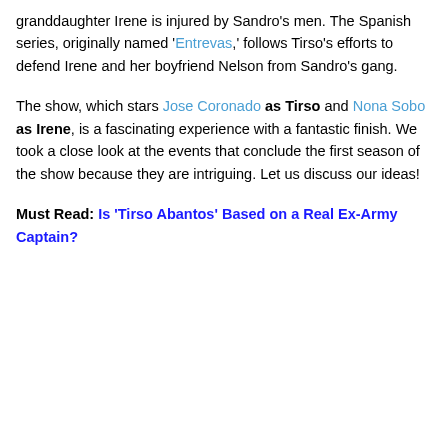granddaughter Irene is injured by Sandro's men. The Spanish series, originally named 'Entrevas,' follows Tirso's efforts to defend Irene and her boyfriend Nelson from Sandro's gang.
The show, which stars Jose Coronado as Tirso and Nona Sobo as Irene, is a fascinating experience with a fantastic finish. We took a close look at the events that conclude the first season of the show because they are intriguing. Let us discuss our ideas!
Must Read: Is 'Tirso Abantos' Based on a Real Ex-Army Captain?